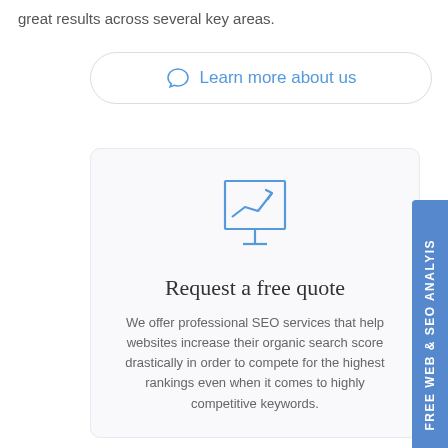great results across several key areas.
[Figure (other): Button with chat icon and text 'Learn more about us']
[Figure (illustration): Presentation board icon with an upward trending line chart arrow]
Request a free quote
We offer professional SEO services that help websites increase their organic search score drastically in order to compete for the highest rankings even when it comes to highly competitive keywords.
FREE WEB & SEO ANALYIS